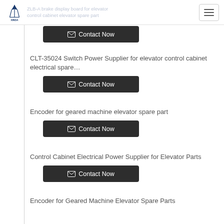XINDA — ZLB-A brake display board for elevator control cabinet elevator spare part
CLT-35024 Switch Power Supplier for elevator control cabinet electrical spare…
Encoder for geared machine elevator spare part
Control Cabinet Electrical Power Supplier for Elevator Parts
Encoder for Geared Machine Elevator Spare Parts